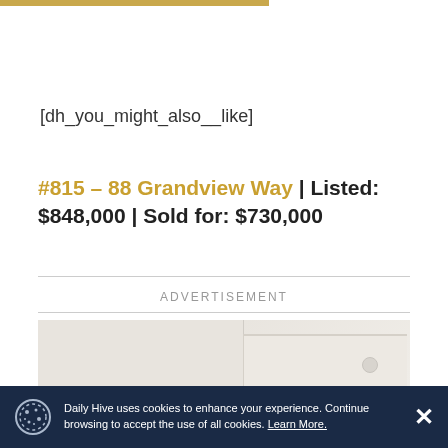[dh_you_might_also__like]
#815 – 88 Grandview Way | Listed: $848,000 | Sold for: $730,000
ADVERTISEMENT
[Figure (photo): Partial view of white/cream drawer furniture with knob handle against a light background]
Daily Hive uses cookies to enhance your experience. Continue browsing to accept the use of all cookies. Learn More.